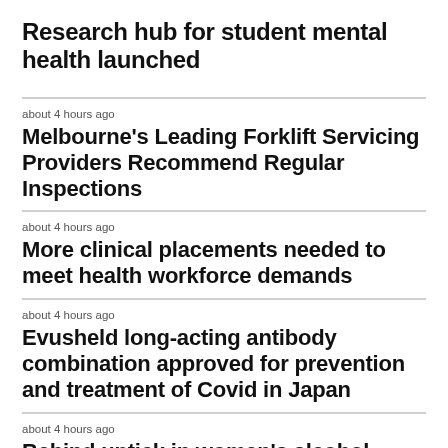Research hub for student mental health launched
about 4 hours ago
Melbourne's Leading Forklift Servicing Providers Recommend Regular Inspections
about 4 hours ago
More clinical placements needed to meet health workforce demands
about 4 hours ago
Evusheld long-acting antibody combination approved for prevention and treatment of Covid in Japan
about 4 hours ago
Behind uptick in women's alcohol consumption: stress, stereotypes,